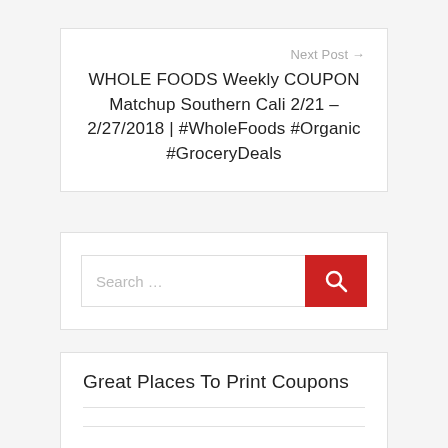Next Post →
WHOLE FOODS Weekly COUPON Matchup Southern Cali 2/21 – 2/27/2018 | #WholeFoods #Organic #GroceryDeals
[Figure (screenshot): Search bar with text input placeholder 'Search …' and a red search button with magnifying glass icon]
Great Places To Print Coupons